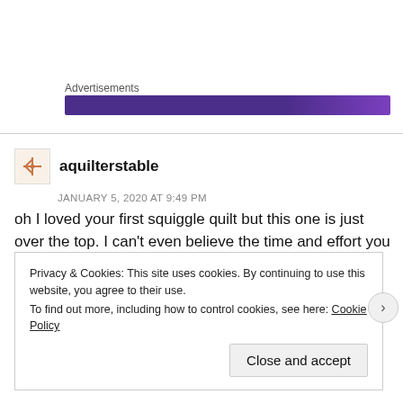Advertisements
[Figure (other): Purple advertisement banner bar]
aquilterstable
JANUARY 5, 2020 AT 9:49 PM
oh I loved your first squiggle quilt but this one is just over the top. I can't even believe the time and effort you put into the hand-quilting. It's gorgeous! Good luck at QuiltCon! I'm so glad it'll be in the show.
Privacy & Cookies: This site uses cookies. By continuing to use this website, you agree to their use.
To find out more, including how to control cookies, see here: Cookie Policy